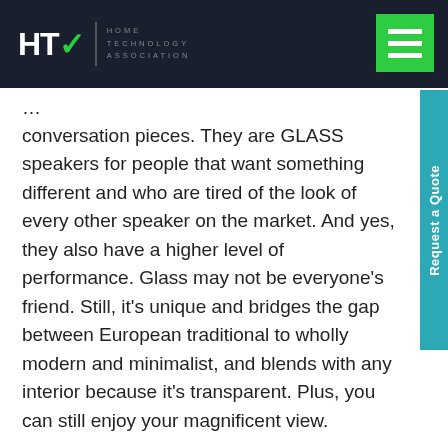HTA | HOME TECHNOLOGY ASSOCIATION
conversation pieces. They are GLASS speakers for people that want something different and who are tired of the look of every other speaker on the market. And yes, they also have a higher level of performance. Glass may not be everyone’s friend. Still, it’s unique and bridges the gap between European traditional to wholly modern and minimalist, and blends with any interior because it’s transparent. Plus, you can still enjoy your magnificent view.
Do you ever work directly with designers?